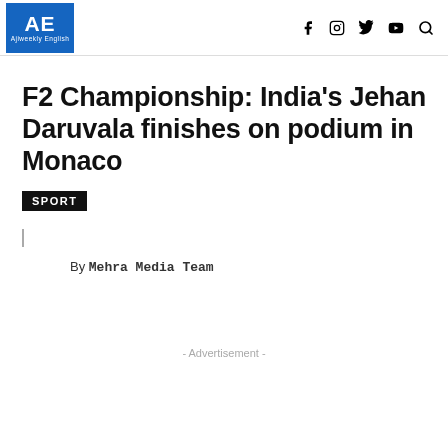AE Ajiweekly English — navigation header with social icons
F2 Championship: India's Jehan Daruvala finishes on podium in Monaco
SPORT
By Mehra Media Team
- Advertisement -